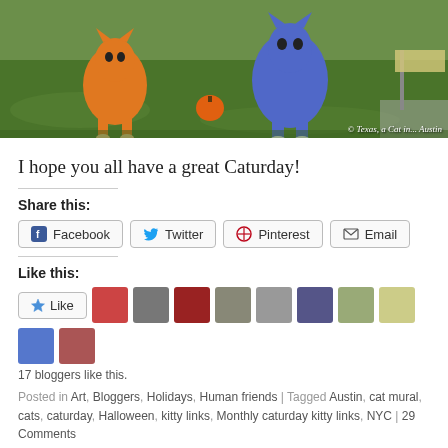[Figure (photo): Outdoor photo showing colorful cat/animal statues on grass with a small pumpkin; watermark reads '© Texas, a Cat in... Austin']
I hope you all have a great Caturday!
Share this:
Facebook  Twitter  Pinterest  Email
Like this:
Like  [blogger avatars]
17 bloggers like this.
Posted in Art, Bloggers, Holidays, Human friends | Tagged Austin, cat mural, cats, caturday, Halloween, kitty links, Monthly caturday kitty links, NYC | 29 Comments